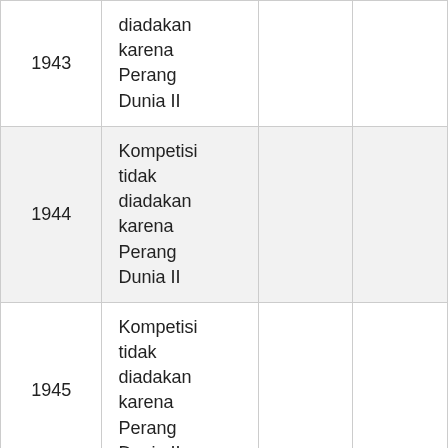| 1943 | diadakan karena Perang Dunia II |  |  |
| 1944 | Kompetisi tidak diadakan karena Perang Dunia II |  |  |
| 1945 | Kompetisi tidak diadakan karena Perang Dunia II |  |  |
|  | Kompetisi tidak diadakan… |  |  |